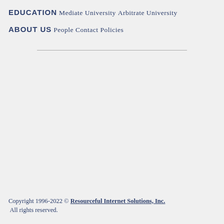EDUCATION
Mediate University
Arbitrate University
ABOUT US
People
Contact
Policies
Copyright 1996-2022 © Resourceful Internet Solutions, Inc. All rights reserved.